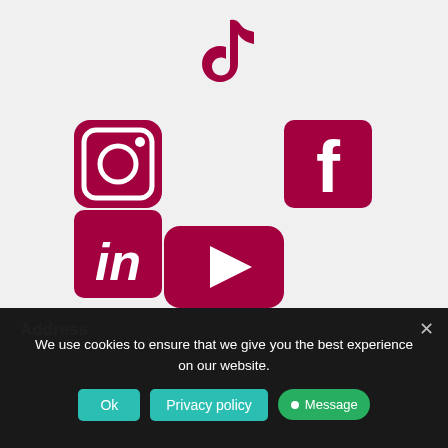[Figure (illustration): Social media icons arranged in a pattern on a light grey background: TikTok (top center), Instagram (middle left), Facebook (middle right), LinkedIn (lower left), Twitter (lower right), YouTube (bottom center). All icons are dark crimson/maroon color.]
Address
We use cookies to ensure that we give you the best experience on our website.
Ok   Privacy policy   Message